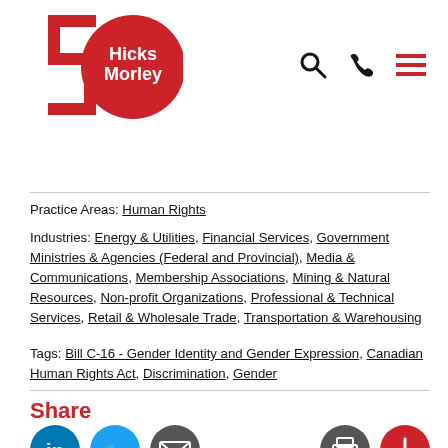[Figure (logo): Hicks Morley 50th anniversary logo — red circle with white Hicks Morley text and red 5 and 0 numerals]
Practice Areas: Human Rights
Industries: Energy & Utilities, Financial Services, Government Ministries & Agencies (Federal and Provincial), Media & Communications, Membership Associations, Mining & Natural Resources, Non-profit Organizations, Professional & Technical Services, Retail & Wholesale Trade, Transportation & Warehousing
Tags: Bill C-16 - Gender Identity and Gender Expression, Canadian Human Rights Act, Discrimination, Gender
Share